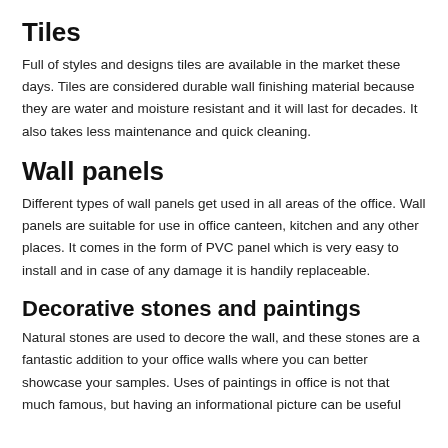Tiles
Full of styles and designs tiles are available in the market these days. Tiles are considered durable wall finishing material because they are water and moisture resistant and it will last for decades. It also takes less maintenance and quick cleaning.
Wall panels
Different types of wall panels get used in all areas of the office. Wall panels are suitable for use in office canteen, kitchen and any other places. It comes in the form of PVC panel which is very easy to install and in case of any damage it is handily replaceable.
Decorative stones and paintings
Natural stones are used to decore the wall, and these stones are a fantastic addition to your office walls where you can better showcase your samples. Uses of paintings in office is not that much famous, but having an informational picture can be useful